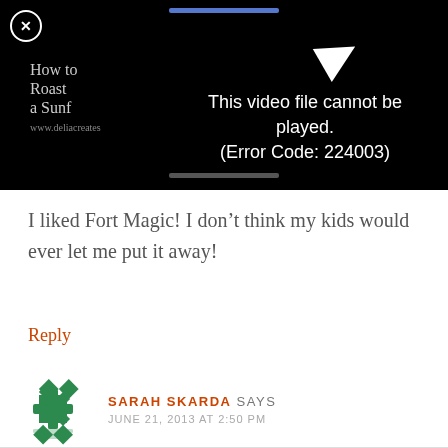[Figure (screenshot): Video player showing error message 'This video file cannot be played. (Error Code: 224003)' on a black background, with partial thumbnail text 'How to Roast a Sunf' and website URL visible on left side.]
I liked Fort Magic! I don’t think my kids would ever let me put it away!
Reply
SARAH SKARDA SAYS
JUNE 21, 2013 AT 2:50 PM